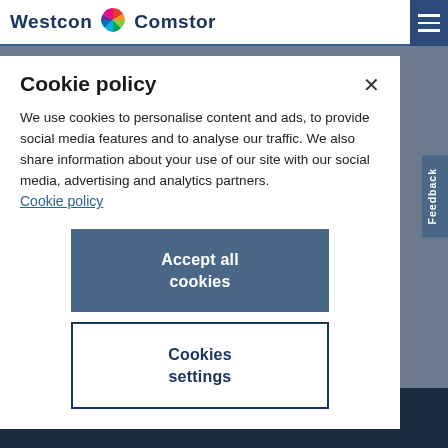Westcon Comstor
Cookie policy
We use cookies to personalise content and ads, to provide social media features and to analyse our traffic. We also share information about your use of our site with our social media, advertising and analytics partners.
Cookie policy
Accept all cookies
Cookies settings